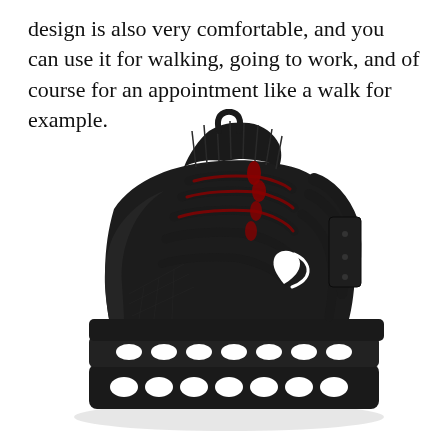design is also very comfortable, and you can use it for walking, going to work, and of course for an appointment like a walk for example.
[Figure (photo): A black high-top athletic sneaker with a blade-style chunky sole, red accent laces/pulls, and a white logo on the side, photographed against a white background.]